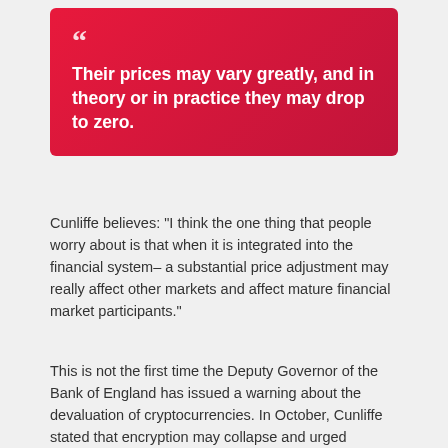Their prices may vary greatly, and in theory or in practice they may drop to zero.
Cunliffe believes: "I think the one thing that people worry about is that when it is integrated into the financial system– a substantial price adjustment may really affect other markets and affect mature financial market participants."
This is not the first time the Deputy Governor of the Bank of England has issued a warning about the devaluation of cryptocurrencies. In October, Cunliffe stated that encryption may collapse and urged regulators to act quickly Establish Their importance for our readers.